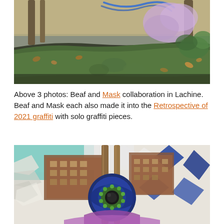[Figure (photo): Outdoor photo showing a grassy area with trees, leaves on ground, green vegetation and plants, with a wooden fence or wall in the background featuring blue graffiti marks and purple/lavender smoke or spray paint cloud on the right side.]
Above 3 photos: Beaf and Mask collaboration in Lachine. Beaf and Mask each also made it into the Retrospective of 2021 graffiti with solo graffiti pieces.
[Figure (photo): Close-up photo of a graffiti mural on a brick wall showing a detailed eye-like circular design in blue, green and purple tones in the center, with buildings and architectural elements painted in brown tones on either side, and geometric diamond patterns in blue and white on the right. Abstract graffiti letters visible on the left side.]